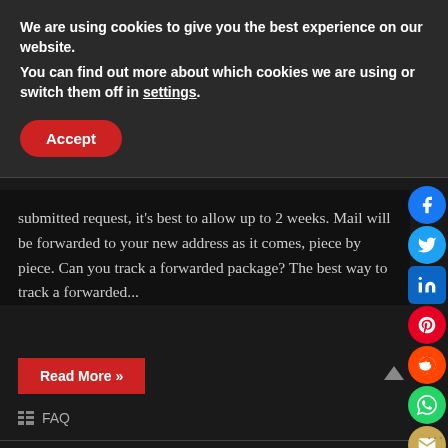We are using cookies to give you the best experience on our website.
You can find out more about which cookies we are using or switch them off in settings.
Accept
submitted request, it's best to allow up to 2 weeks. Mail will be forwarded to your new address as it comes, piece by piece. Can you track a forwarded package? The best way to track a forwarded...
Read More »
FAQ
Can you track someone's Amazon order?